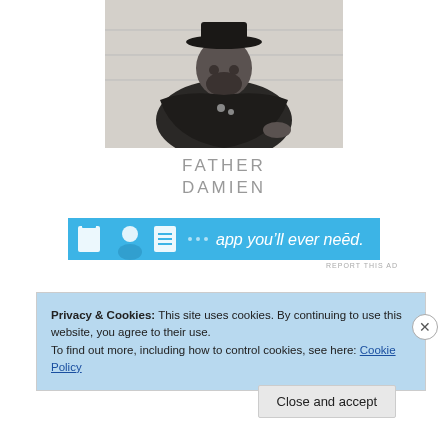[Figure (photo): Black and white photograph of Father Damien, a bearded man wearing a hat and dark cape/cloak, seated, looking at the camera.]
FATHER DAMIEN
[Figure (other): Advertisement banner in blue with icons and text: app you'll ever need.]
REPORT THIS AD
Privacy & Cookies: This site uses cookies. By continuing to use this website, you agree to their use.
To find out more, including how to control cookies, see here: Cookie Policy
Close and accept